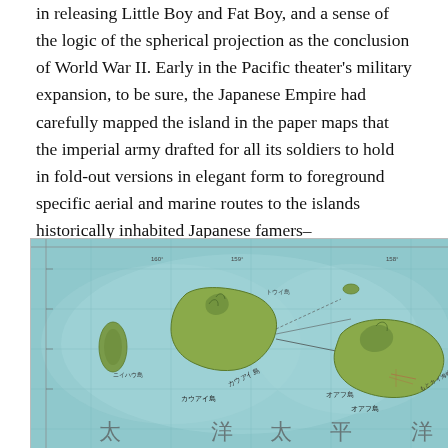in releasing Little Boy and Fat Boy, and a sense of the logic of the spherical projection as the conclusion of World War II. Early in the Pacific theater's military expansion, to be sure, the Japanese Empire had carefully mapped the island in the paper maps that the imperial army drafted for all its soldiers to hold in fold-out versions in elegant form to foreground specific aerial and marine routes to the islands historically inhabited Japanese famers–
[Figure (map): Japanese imperial military map of the Hawaiian Islands showing Kauai, Oahu, and surrounding waters with Japanese text labels, grid lines, and navigational routes marked. The map shows topographical features of the islands with green coloring and the surrounding Pacific Ocean in blue-green tones.]